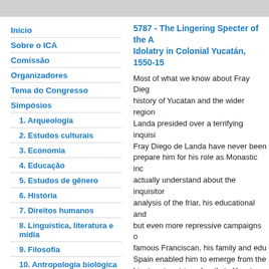Início
Sobre o ICA
Comissão
Organizadores
Tema do Congresso
Simpósios
1. Arqueologia
2. Estudos culturais
3. Economia
4. Educação
5. Estudos de gênero
6. História
7. Direitos humanos
8. Linguística, literatura e mídia
9. Filosofia
10. Antropologia biológica
11. Politica e transformação do Estado
12. Estudos pós-coloniais
5787 - The Lingering Specter of the A Idolatry in Colonial Yucatán, 1550-15
Most of what we know about Fray Diego history of Yucatan and the wider region Landa presided over a terrifying inquisi Fray Diego de Landa have never been prepare him for his role as Monastic inc actually understand about the inquisitor analysis of the friar, his educational and but even more repressive campaigns o famous Franciscan, his family and edu Spain enabled him to emerge from the him to return triumphantly to Yucatan a repressive episcopal autos de fe as eco
Palavras-chaves: Diego de Landa, Ido
Autores: Chuchiak IV, John F (Missou
atrás